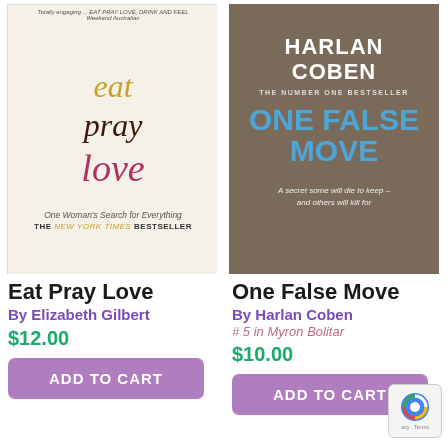[Figure (photo): Book cover of Eat Pray Love showing the title in stylized text made of seeds/beads on a light background with subtitle 'One Woman's Search for Everything' and 'THE NEW YORK TIMES BESTSELLER']
Eat Pray Love
By Elizabeth Gilbert
$12.00
ADD TO CART
[Figure (photo): Book cover of One False Move by Harlan Coben showing the author name in white on dark background, 'THE NUMBER ONE BESTSELLER', title in blue text, and tagline 'A secret some will die to keep - and others will kill for']
One False Move
By Harlan Coben
# 5 in Myron Bolitar
$10.00
ADD TO CART